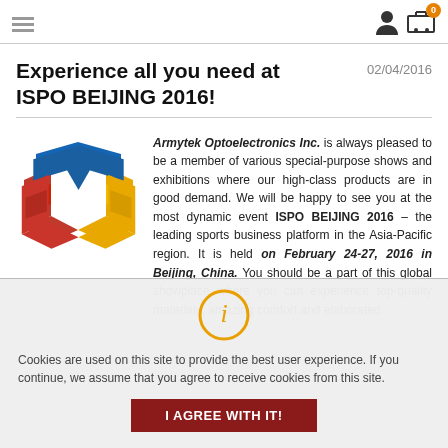Navigation menu and cart icons
Experience all you need at ISPO BEIJING 2016!
02/04/2016
[Figure (logo): Armytek Optoelectronics logo — geometric cube/hexagon shape made of red, blue, and yellow angular ribbon shapes forming a 3D box illusion]
Armytek Optoelectronics Inc. is always pleased to be a member of various special-purpose shows and exhibitions where our high-class products are in good demand. We will be happy to see you at the most dynamic event ISPO BEIJING 2016 – the leading sports business platform in the Asia-Pacific region. It is held on February 24-27, 2016 in Beijing, China. You should be a part of this global showplace where you can experience top-quality materials, amazing comfort and elaborated
Cookies are used on this site to provide the best user experience. If you continue, we assume that you agree to receive cookies from this site.